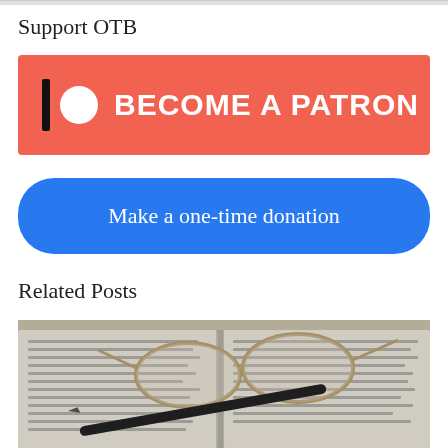Support OTB
[Figure (other): Patreon 'Become a Patron' button with coral/salmon background, Patreon logo (vertical bar and circle) on left, bold white text 'BECOME A PATRON']
[Figure (other): Blue rounded button with white text 'Make a one-time donation']
Related Posts
[Figure (photo): Photo of open book/newspaper with reading glasses and a pen resting on it, close-up view]